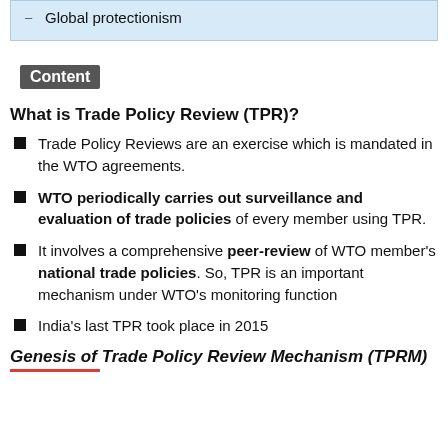Global protectionism
Content
What is Trade Policy Review (TPR)?
Trade Policy Reviews are an exercise which is mandated in the WTO agreements.
WTO periodically carries out surveillance and evaluation of trade policies of every member using TPR.
It involves a comprehensive peer-review of WTO member's national trade policies. So, TPR is an important mechanism under WTO's monitoring function
India's last TPR took place in 2015
Genesis of Trade Policy Review Mechanism (TPRM)